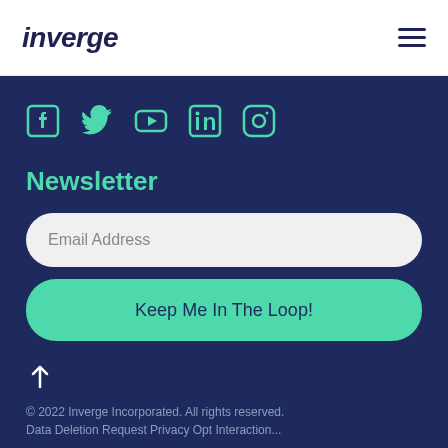inverge
[Figure (illustration): Social media icons row: Facebook, Twitter, YouTube, LinkedIn, Instagram — teal colored on dark navy background]
Newsletter
Email Address
Keep Me In The Loop!
[Figure (illustration): Upward arrow icon in teal/white on dark navy background]
© 2022 Inverge Incorporated. All rights reserved.
Data Deletion Request Privacy Opt Interaction...